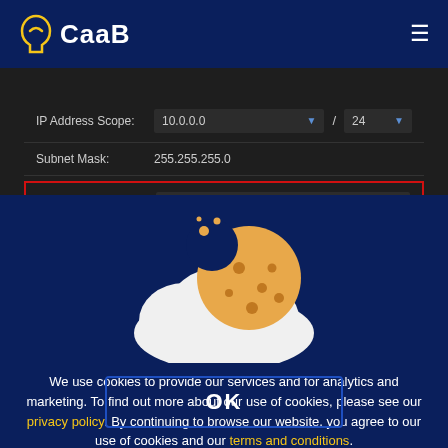CaaB
[Figure (screenshot): Network configuration form showing IP Address Scope: 10.0.0.0 / 24, Subnet Mask: 255.255.255.0, Gateway: 10.0.0.1 (highlighted with red border)]
[Figure (illustration): Cookie icon (cookie with a bite taken out) overlapping a white cloud shape on dark blue background]
We use cookies to provide our services and for analytics and marketing. To find out more about our use of cookies, please see our privacy policy. By continuing to browse our website, you agree to our use of cookies and our terms and conditions.
OK